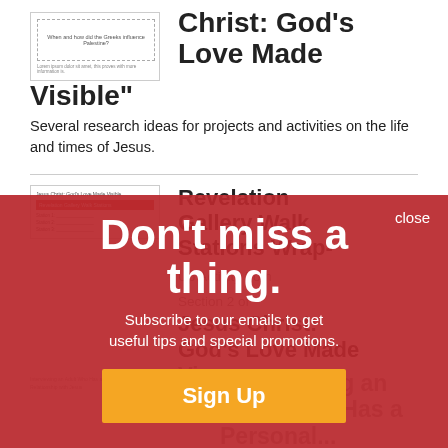[Figure (screenshot): Thumbnail of a worksheet with dashed border and small text lines]
Christ: God's Love Made Visible"
Several research ideas for projects and activities on the life and times of Jesus.
[Figure (screenshot): Thumbnail of Revelation Gallery Walk Stations document with red header bar and station lines]
Revelation Gallery Walk Stations Wrap-Up Activity from Section 2 of Jesus Christ: God's Love Made Visible"
Stations for a section wrap-up Revelation gallery walk.
[Figure (infographic): Red overlay popup with text: Don't miss a thing. Subscribe to our emails to get useful tips and special promotions. Sign Up button.]
close
Don't miss a thing.
Subscribe to our emails to get useful tips and special promotions.
Sign Up
Interviewing an Adult Who Has a Personal...